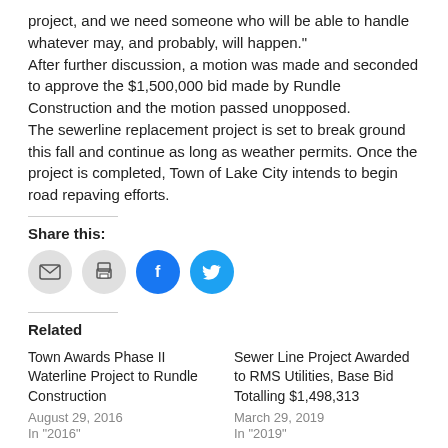project, and we need someone who will be able to handle whatever may, and probably, will happen." After further discussion, a motion was made and seconded to approve the $1,500,000 bid made by Rundle Construction and the motion passed unopposed. The sewerline replacement project is set to break ground this fall and continue as long as weather permits. Once the project is completed, Town of Lake City intends to begin road repaving efforts.
Share this:
[Figure (illustration): Social sharing icons: email (gray circle), print (gray circle), Facebook (blue circle with f logo), Twitter (blue circle with bird logo)]
Related
Town Awards Phase II Waterline Project to Rundle Construction
August 29, 2016
In "2016"
Sewer Line Project Awarded to RMS Utilities, Base Bid Totalling $1,498,313
March 29, 2019
In "2019"